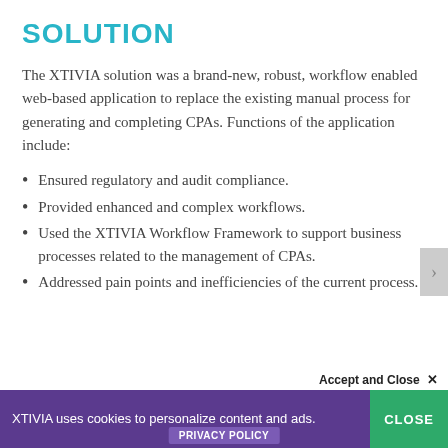SOLUTION
The XTIVIA solution was a brand-new, robust, workflow enabled web-based application to replace the existing manual process for generating and completing CPAs. Functions of the application include:
Ensured regulatory and audit compliance.
Provided enhanced and complex workflows.
Used the XTIVIA Workflow Framework to support business processes related to the management of CPAs.
Addressed pain points and inefficiencies of the current process.
Accept and Close ×
XTIVIA uses cookies to personalize content and ads.
CLOSE
PRIVACY POLICY